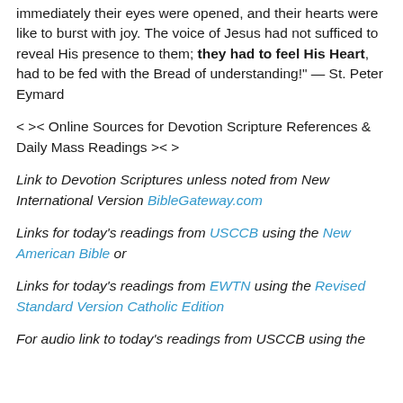immediately their eyes were opened, and their hearts were like to burst with joy. The voice of Jesus had not sufficed to reveal His presence to them; they had to feel His Heart, had to be fed with the Bread of understanding!" — St. Peter Eymard
< >< Online Sources for Devotion Scripture References & Daily Mass Readings >< >
Link to Devotion Scriptures unless noted from New International Version BibleGateway.com
Links for today's readings from USCCB using the New American Bible or
Links for today's readings from EWTN using the Revised Standard Version Catholic Edition
For audio link to today's readings from USCCB using the